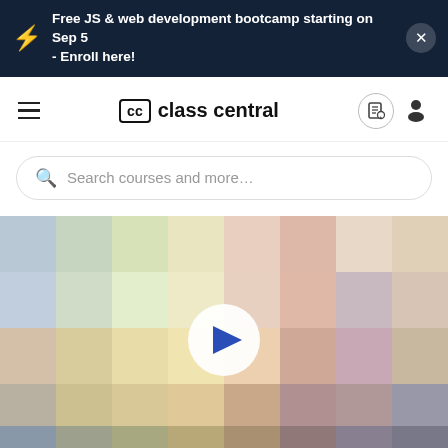Free JS & web development bootcamp starting on Sep 5 - Enroll here!
[Figure (screenshot): Class Central website homepage screenshot showing navigation bar with hamburger menu, Class Central logo, search bar, video thumbnail with play button, and bottom navigation icons]
class central
Search courses and more…